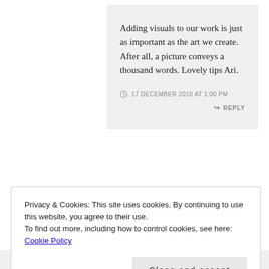Adding visuals to our work is just as important as the art we create. After all, a picture conveys a thousand words. Lovely tips Ari.
17 DECEMBER 2018 AT 1:00 PM
REPLY
Privacy & Cookies: This site uses cookies. By continuing to use this website, you agree to their use.
To find out more, including how to control cookies, see here: Cookie Policy
Close and accept
Thanks for reading,